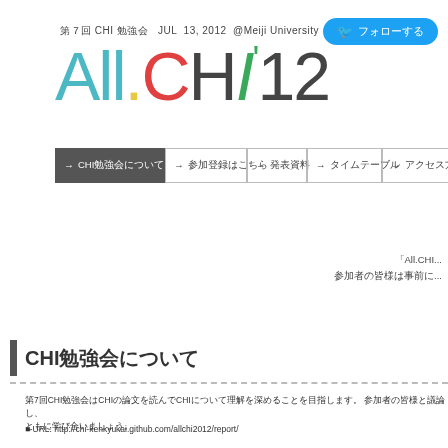第７回 CHI 勉強会 JUL 13, 2012 @Meiji University
All.CHI'12
[Figure (screenshot): Twitter follow button in blue rounded rectangle]
→ CHI勉強会について
→ 参加登録はこちら
→ 発表資料
→ タイムテーブル
→ アクセス方法
「All.CHI...
参加者の皆様...
CHI勉強会について
第7回CHI勉強会はCHIの論文を読んでCHIについて理解を深めることを目指します。 参加者の皆様と
ともに議論...